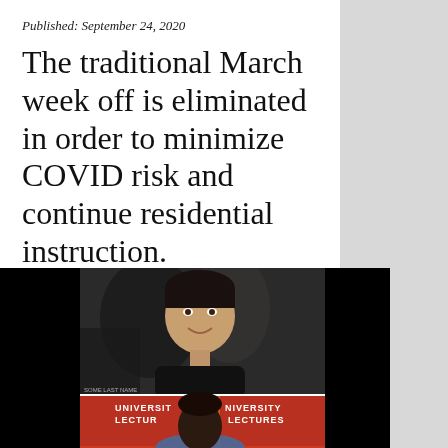Published: September 24, 2020
The traditional March week off is eliminated in order to minimize COVID risk and continue residential instruction.
[Figure (photo): Two photos in a split screen: top photo shows a man with dark hair smiling against an abstract dark background; bottom photo shows a man in a suit jacket standing in front of a University Lectures banner on a red background.]